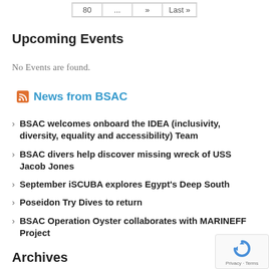80 ... » Last »
Upcoming Events
No Events are found.
News from BSAC
BSAC welcomes onboard the IDEA (inclusivity, diversity, equality and accessibility) Team
BSAC divers help discover missing wreck of USS Jacob Jones
September iSCUBA explores Egypt's Deep South
Poseidon Try Dives to return
BSAC Operation Oyster collaborates with MARINEFF Project
Archives